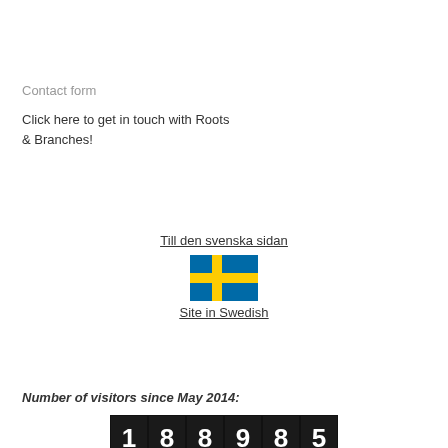Contact form
Click here to get in touch with Roots & Branches!
Till den svenska sidan
[Figure (illustration): Swedish flag icon — blue background with yellow cross]
Site in Swedish
Number of visitors since May 2014:
[Figure (other): Visitor counter showing 188985]